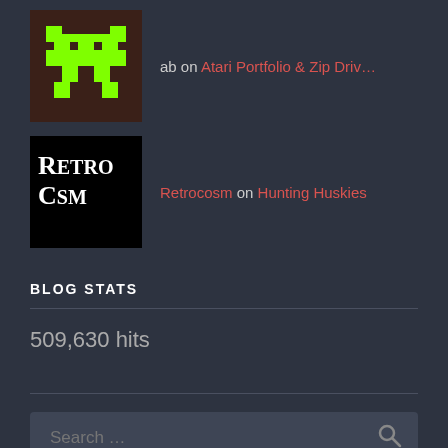ab on Atari Portfolio & Zip Driv...
Retrocosm on Hunting Huskies
BLOG STATS
509,630 hits
[Figure (screenshot): Search input box with placeholder text 'Search ...' and a search icon on the right]
BLOG AT WORDPRESS.COM.